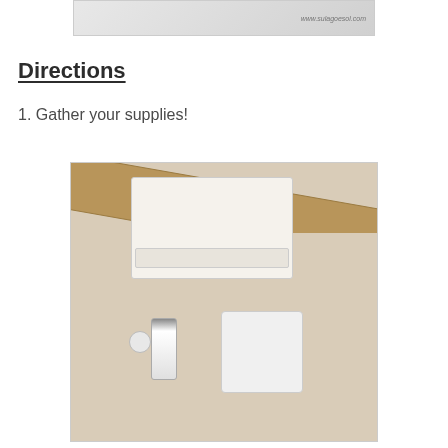[Figure (photo): Top portion of a photo showing a website watermark 'www.sulagoesol.com' with a light background]
Directions
1. Gather your supplies!
[Figure (photo): Photo showing a white plastic storage bin on a tile floor with a brown wooden rod diagonally across the top, a tube of product, a small wrapped item, and a white cloth/bag on the floor]